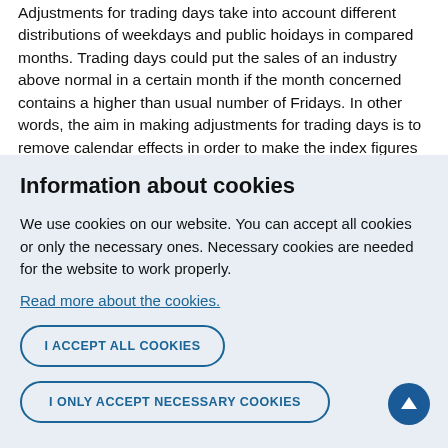Adjustments for trading days take into account different distributions of weekdays and public hoidays in compared months. Trading days could put the sales of an industry above normal in a certain month if the month concerned contains a higher than usual number of Fridays. In other words, the aim in making adjustments for trading days is to remove calendar effects in order to make the index figures
Information about cookies
We use cookies on our website. You can accept all cookies or only the necessary ones. Necessary cookies are needed for the website to work properly.
Read more about the cookies.
I ACCEPT ALL COOKIES
I ONLY ACCEPT NECESSARY COOKIES